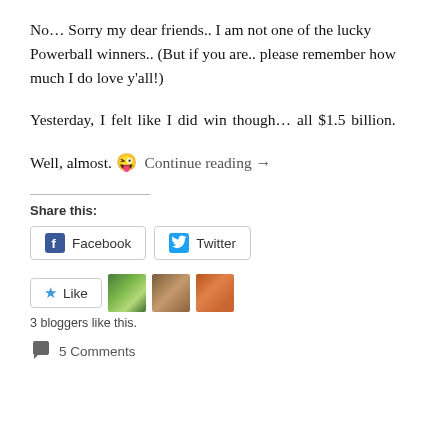No... Sorry my dear friends.. I am not one of the lucky Powerball winners.. (But if you are.. please remember how much I do love y'all!)
Yesterday, I felt like I did win though... all $1.5 billion.
Well, almost. 😜 Continue reading →
Share this:
Facebook
Twitter
Like
3 bloggers like this.
5 Comments